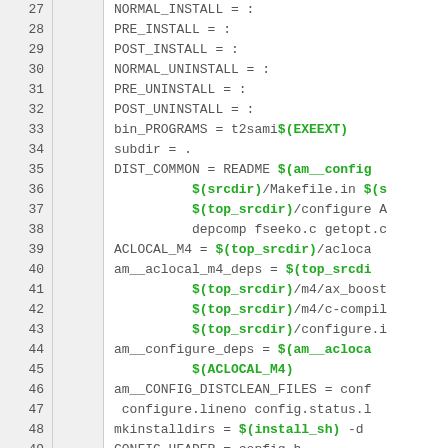Code listing lines 27–49 showing Makefile variable assignments: NORMAL_INSTALL, PRE_INSTALL, POST_INSTALL, NORMAL_UNINSTALL, PRE_UNINSTALL, POST_UNINSTALL, bin_PROGRAMS, subdir, DIST_COMMON, ACLOCAL_M4, am__aclocal_m4_deps, am__configure_deps, am__CONFIG_DISTCLEAN_FILES, mkinstalldirs, CONFIG_HEADER